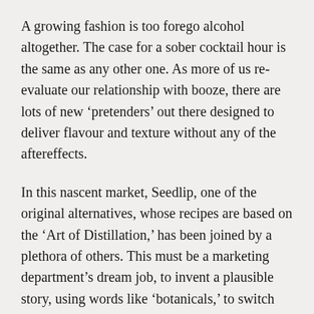A growing fashion is too forego alcohol altogether. The case for a sober cocktail hour is the same as any other one. As more of us re-evaluate our relationship with booze, there are lots of new ‘pretenders’ out there designed to deliver flavour and texture without any of the aftereffects.
In this nascent market, Seedlip, one of the original alternatives, whose recipes are based on the ‘Art of Distillation,’ has been joined by a plethora of others. This must be a marketing department’s dream job, to invent a plausible story, using words like ‘botanicals,’ to switch non-drinkers from an alternative to fizzy water or club soda where the kick is now delivered in the price.
Will we have alcohol free bars in